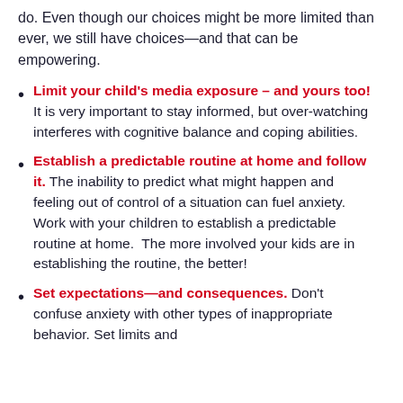do. Even though our choices might be more limited than ever, we still have choices—and that can be empowering.
Limit your child's media exposure – and yours too! It is very important to stay informed, but over-watching interferes with cognitive balance and coping abilities.
Establish a predictable routine at home and follow it. The inability to predict what might happen and feeling out of control of a situation can fuel anxiety.  Work with your children to establish a predictable routine at home.  The more involved your kids are in establishing the routine, the better!
Set expectations—and consequences. Don't confuse anxiety with other types of inappropriate behavior. Set limits and